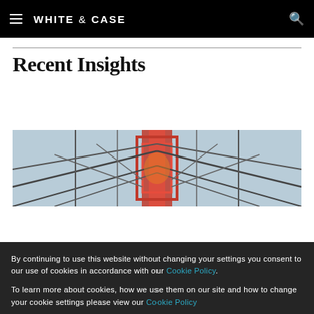WHITE & CASE
Recent Insights
[Figure (photo): Upward-looking view of a red and grey steel electrical transmission tower structure against a blue sky.]
By continuing to use this website without changing your settings you consent to our use of cookies in accordance with our Cookie Policy.
To learn more about cookies, how we use them on our site and how to change your cookie settings please view our Cookie Policy